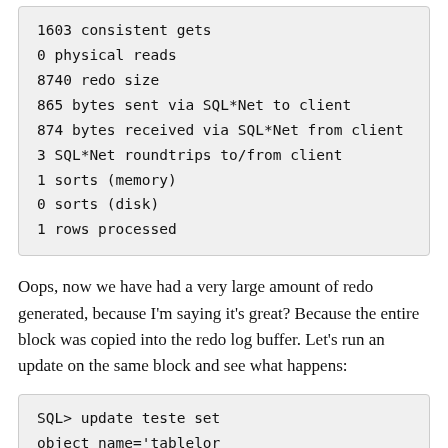1603 consistent gets
0 physical reads
8740 redo size
865 bytes sent via SQL*Net to client
874 bytes received via SQL*Net from client
3 SQL*Net roundtrips to/from client
1 sorts (memory)
0 sorts (disk)
1 rows processed
Oops, now we have had a very large amount of redo generated, because I'm saying it's great? Because the entire block was copied into the redo log buffer. Let's run an update on the same block and see what happens:
SQL> update teste set object_name='tablelor
e' where object_id=1001;